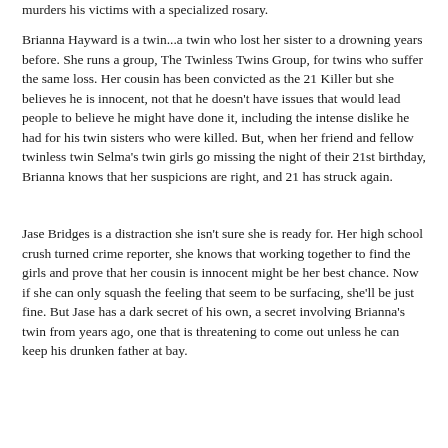murders his victims with a specialized rosary.
Brianna Hayward is a twin...a twin who lost her sister to a drowning years before. She runs a group, The Twinless Twins Group, for twins who suffer the same loss. Her cousin has been convicted as the 21 Killer but she believes he is innocent, not that he doesn't have issues that would lead people to believe he might have done it, including the intense dislike he had for his twin sisters who were killed. But, when her friend and fellow twinless twin Selma's twin girls go missing the night of their 21st birthday, Brianna knows that her suspicions are right, and 21 has struck again.
Jase Bridges is a distraction she isn't sure she is ready for. Her high school crush turned crime reporter, she knows that working together to find the girls and prove that her cousin is innocent might be her best chance. Now if she can only squash the feeling that seem to be surfacing, she'll be just fine. But Jase has a dark secret of his own, a secret involving Brianna's twin from years ago, one that is threatening to come out unless he can keep his drunken father at bay.